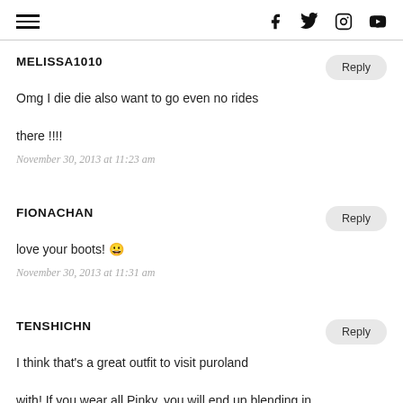hamburger menu | social icons: f, twitter, instagram, youtube
MELISSA1010
Omg I die die also want to go even no rides there !!!!
November 30, 2013 at 11:23 am
FIONACHAN
love your boots! 😀
November 30, 2013 at 11:31 am
TENSHICHN
I think that's a great outfit to visit puroland with! If you wear all Pinky, you will end up blending in